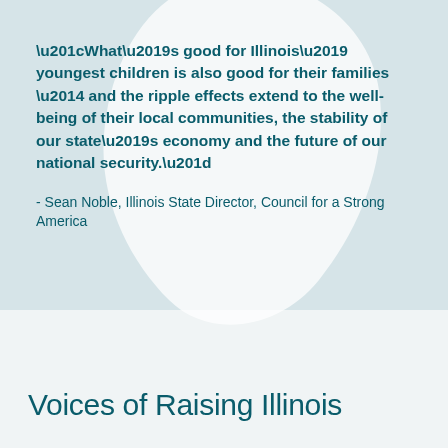“What’s good for Illinois’ youngest children is also good for their families — and the ripple effects extend to the well-being of their local communities, the stability of our state’s economy and the future of our national security.”
- Sean Noble, Illinois State Director, Council for a Strong America
Voices of Raising Illinois